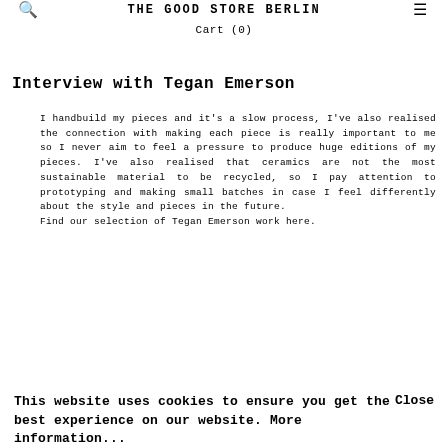THE GOOD STORE BERLIN
Cart (0)
Interview with Tegan Emerson
I handbuild my pieces and it's a slow process, I've also realised the connection with making each piece is really important to me so I never aim to feel a pressure to produce huge editions of my pieces. I've also realised that ceramics are not the most sustainable material to be recycled, so I pay attention to prototyping and making small batches in case I feel differently about the style and pieces in the future.
Find our selection of Tegan Emerson work here.
This website uses cookies to ensure you get the best experience on our website. More information... Close